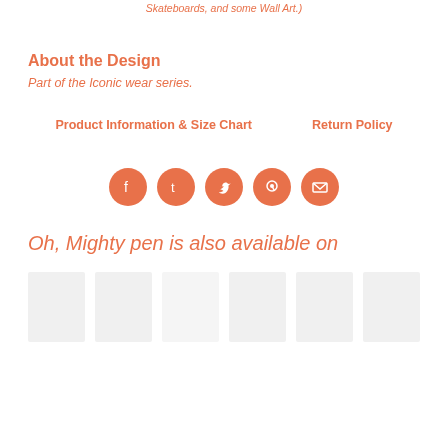Skateboards, and some Wall Art.)
About the Design
Part of the Iconic wear series.
Product Information & Size Chart
Return Policy
[Figure (infographic): Row of 5 orange circular social media icons: Facebook, Tumblr, Twitter, Pinterest, Email]
Oh, Mighty pen is also available on
[Figure (infographic): Row of 6 light gray thumbnail product image placeholders]